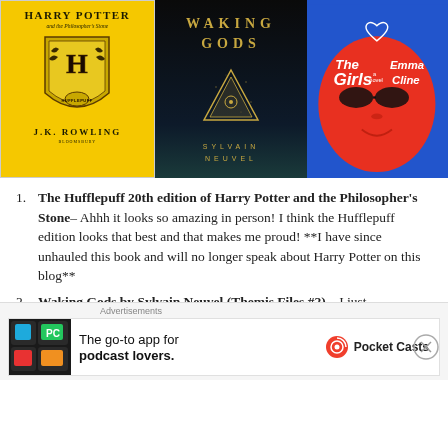[Figure (photo): Three book covers side by side: Harry Potter and the Philosopher's Stone (Hufflepuff 20th edition, yellow cover with crest, J.K. Rowling), Waking Gods by Sylvain Neuvel (dark cover with golden triangle), and The Girls by Emma Cline (blue cover with red face).]
The Hufflepuff 20th edition of Harry Potter and the Philosopher's Stone– Ahhh it looks so amazing in person! I think the Hufflepuff edition looks that best and that makes me proud! **I have since unhauled this book and will no longer speak about Harry Potter on this blog**
Waking Gods by Sylvain Neuvel (Themis Files #2) – I just
Advertisements
[Figure (infographic): Pocket Casts advertisement: colorful logo on left, text 'The go-to app for podcast lovers.' with Pocket Casts logo on right.]